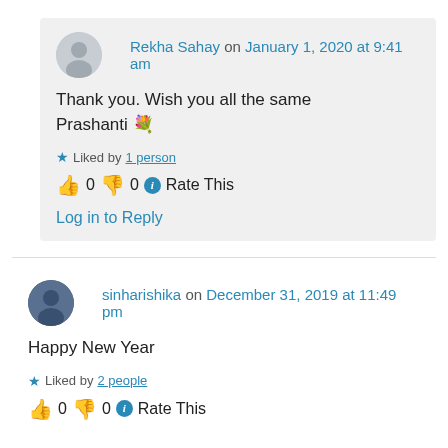Rekha Sahay on January 1, 2020 at 9:41 am
Thank you. Wish you all the same Prashanti 💐
★ Liked by 1 person
👍 0 👎 0 ℹ Rate This
Log in to Reply
sinharishika on December 31, 2019 at 11:49 pm
Happy New Year
★ Liked by 2 people
👍 0 👎 0 ℹ Rate This